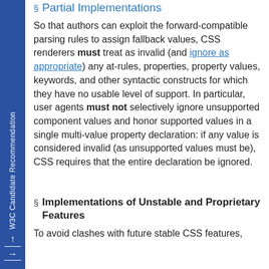§ Partial Implementations
So that authors can exploit the forward-compatible parsing rules to assign fallback values, CSS renderers must treat as invalid (and ignore as appropriate) any at-rules, properties, property values, keywords, and other syntactic constructs for which they have no usable level of support. In particular, user agents must not selectively ignore unsupported component values and honor supported values in a single multi-value property declaration: if any value is considered invalid (as unsupported values must be), CSS requires that the entire declaration be ignored.
§ Implementations of Unstable and Proprietary Features
To avoid clashes with future stable CSS features,